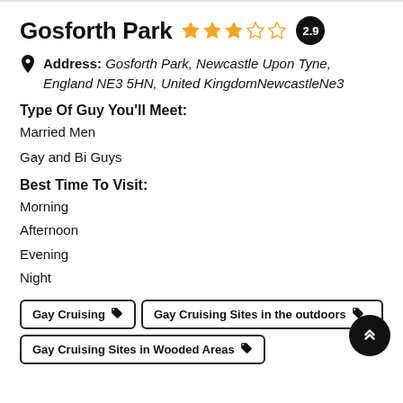Gosforth Park 2.9
Address: Gosforth Park, Newcastle Upon Tyne, England NE3 5HN, United KingdomNewcastleNe3
Type Of Guy You'll Meet:
Married Men
Gay and Bi Guys
Best Time To Visit:
Morning
Afternoon
Evening
Night
Gay Cruising
Gay Cruising Sites in the outdoors
Gay Cruising Sites in Wooded Areas